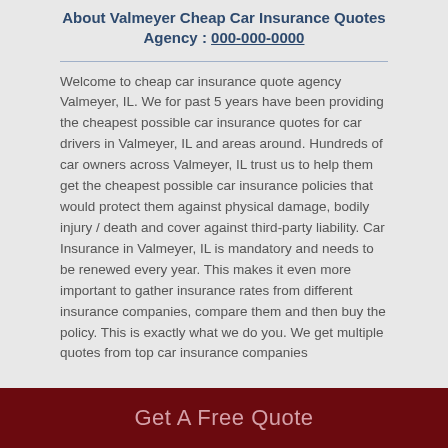About Valmeyer Cheap Car Insurance Quotes Agency : 000-000-0000
Welcome to cheap car insurance quote agency Valmeyer, IL. We for past 5 years have been providing the cheapest possible car insurance quotes for car drivers in Valmeyer, IL and areas around. Hundreds of car owners across Valmeyer, IL trust us to help them get the cheapest possible car insurance policies that would protect them against physical damage, bodily injury / death and cover against third-party liability. Car Insurance in Valmeyer, IL is mandatory and needs to be renewed every year. This makes it even more important to gather insurance rates from different insurance companies, compare them and then buy the policy. This is exactly what we do you. We get multiple quotes from top car insurance companies
Get A Free Quote